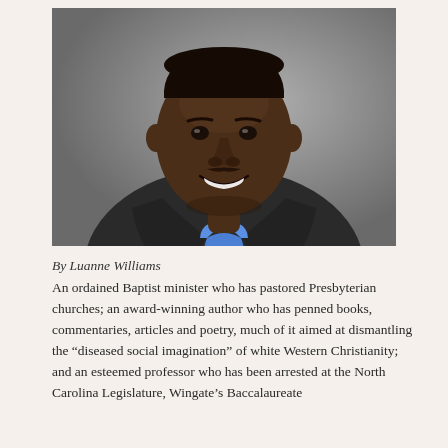[Figure (photo): Professional headshot of a smiling man wearing a dark blazer and blue collared shirt, photographed against a grey studio background.]
By Luanne Williams
An ordained Baptist minister who has pastored Presbyterian churches; an award-winning author who has penned books, commentaries, articles and poetry, much of it aimed at dismantling the “diseased social imagination” of white Western Christianity; and an esteemed professor who has been arrested at the North Carolina Legislature, Wingate’s Baccalaureate